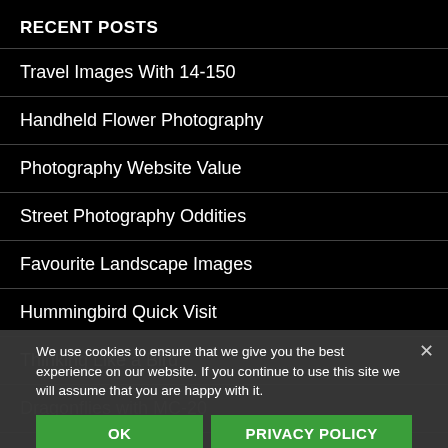RECENT POSTS
Travel Images With 14-150
Handheld Flower Photography
Photography Website Value
Street Photography Oddities
Favourite Landscape Images
Hummingbird Quick Visit
Thinking Like a Bird
Dragonflies with MC-20
Working Around Rolling Shutter
Purple Martins
We use cookies to ensure that we give you the best experience on our website. If you continue to use this site we will assume that you are happy with it.